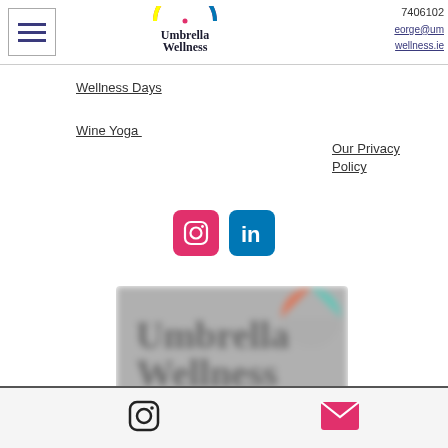Umbrella Wellness — navigation menu header with hamburger icon, logo, and partial contact info (7406102, orge@um, wellness.ie)
Wellness Days
Wine Yoga
Our Privacy Policy
[Figure (logo): Instagram and LinkedIn social media icons (pink Instagram square icon, blue LinkedIn square icon)]
[Figure (logo): Blurred Umbrella Wellness logo image]
Footer bar with Instagram outline icon and email envelope icon